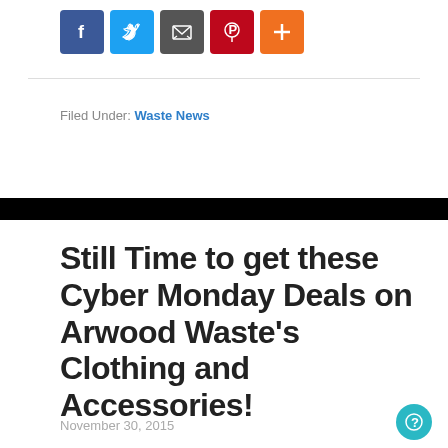[Figure (other): Social share icons: Facebook (blue), Twitter (light blue), Email (dark gray), Pinterest (red), Plus/More (orange)]
Filed Under: Waste News
Still Time to get these Cyber Monday Deals on Arwood Waste's Clothing and Accessories!
November 30, 2015